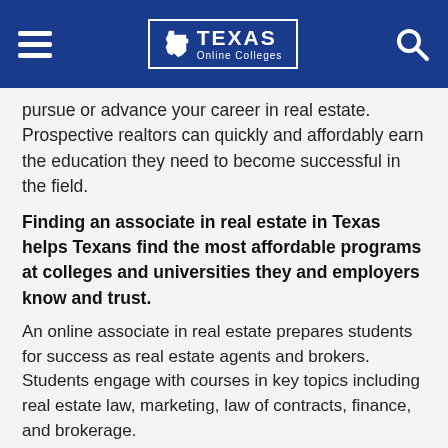TEXAS Online Colleges
pursue or advance your career in real estate. Prospective realtors can quickly and affordably earn the education they need to become successful in the field.
Finding an associate in real estate in Texas helps Texans find the most affordable programs at colleges and universities they and employers know and trust.
An online associate in real estate prepares students for success as real estate agents and brokers. Students engage with courses in key topics including real estate law, marketing, law of contracts, finance, and brokerage.
According to the Bureau of Labor Statistics, real estate brokers and agents make a median annual salary of $50,730. In Texas, 50% of real estate brokers make over $78,000 annually. The job growth rate in Texas is over 17%, much faster than the national average of 5% for all